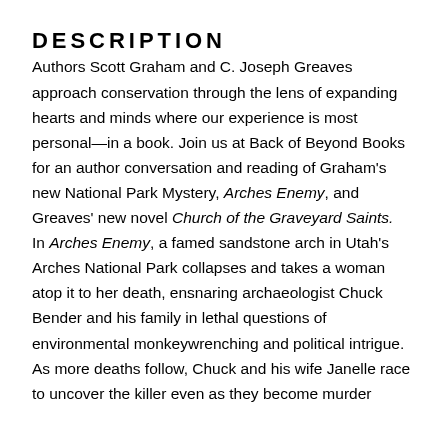DESCRIPTION
Authors Scott Graham and C. Joseph Greaves approach conservation through the lens of expanding hearts and minds where our experience is most personal—in a book. Join us at Back of Beyond Books for an author conversation and reading of Graham's new National Park Mystery, Arches Enemy, and Greaves' new novel Church of the Graveyard Saints. In Arches Enemy, a famed sandstone arch in Utah's Arches National Park collapses and takes a woman atop it to her death, ensnaring archaeologist Chuck Bender and his family in lethal questions of environmental monkeywrenching and political intrigue. As more deaths follow, Chuck and his wife Janelle race to uncover the killer even as they become murder